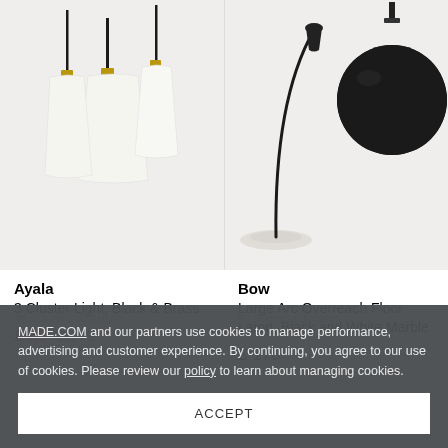[Figure (photo): Ayala 3 Cluster Light pendant lamps with white shades and brass/black fittings, shown hanging against a light background]
[Figure (photo): Bow Large Arc Overreach Floor Lamp in black with white marble base, and a large black dome pendant lamp, shown against a light background]
Ayala
3 Cluster Light, Black & Brass
£ 85  £ 175
Bow
Large Arc Overreach Floor Lamp, Black and White Marble
£ 170
MADE.COM and our partners use cookies to manage performance, advertising and customer experience. By continuing, you agree to our use of cookies. Please review our policy to learn about managing cookies.
ACCEPT